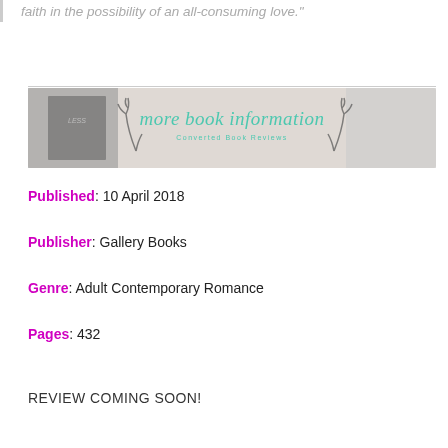faith in the possibility of an all-consuming love."
[Figure (other): Banner image with books in background and teal cursive text reading 'more book information' with 'Converted Book Reviews' subtitle and antler decorations on sides]
Published: 10 April 2018
Publisher: Gallery Books
Genre: Adult Contemporary Romance
Pages: 432
REVIEW COMING SOON!